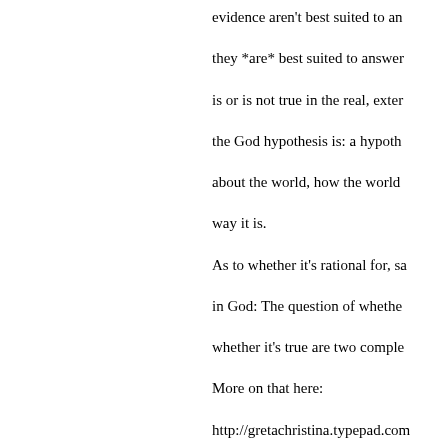evidence aren't best suited to answer, they *are* best suited to answer is or is not true in the real, external world — the God hypothesis is: a hypothesis about the world, how the world came to be the way it is.
As to whether it's rational for, say, in God: The question of whether whether it's true are two completely different. More on that here:
http://gretachristina.typepad.com/ or-false-h.html
Also, see Dave Haaz-Baroque's
Finally, I have never once said that being in the universe, or even on the contrary. I see people as very m